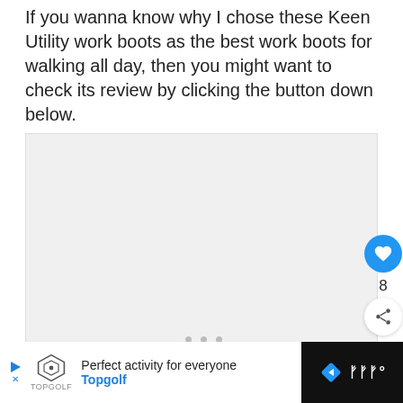If you wanna know why I chose these Keen Utility work boots as the best work boots for walking all day, then you might want to check its review by clicking the button down below.
[Figure (other): Large light gray placeholder image box for product content, with three small gray dots at bottom center indicating a carousel, a blue heart/like button with count of 8, and a share button on the right side. A 'WHAT'S NEXT' panel appears at bottom right showing a boot thumbnail and text 'The 5 Best Work Boots...']
[Figure (other): Advertisement bar at bottom: white section with Topgolf logo, play button, text 'Perfect activity for everyone Topgolf'; dark section with blue diamond nav icon and white bars icon.]